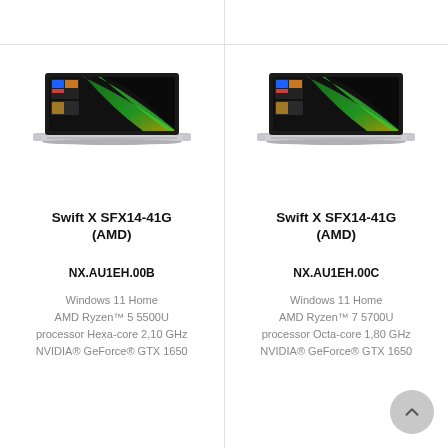[Figure (photo): Left top blank white bar with border]
[Figure (photo): Right top blank white bar with border]
[Figure (photo): Acer Swift X SFX14-41G (AMD) laptop photo, silver, left column]
Swift X SFX14-41G
(AMD)
NX.AU1EH.00B
Windows 11 Home
AMD Ryzen™ 5 5500U
processor Hexa-core 2,10 GHz
NVIDIA® GeForce® GTX 1650
[Figure (photo): Acer Swift X SFX14-41G (AMD) laptop photo, silver, right column]
Swift X SFX14-41G
(AMD)
NX.AU1EH.00C
Windows 11 Home
AMD Ryzen™ 7 5700U
processor Octa-core 1,80 GHz
NVIDIA® GeForce® GTX 1650